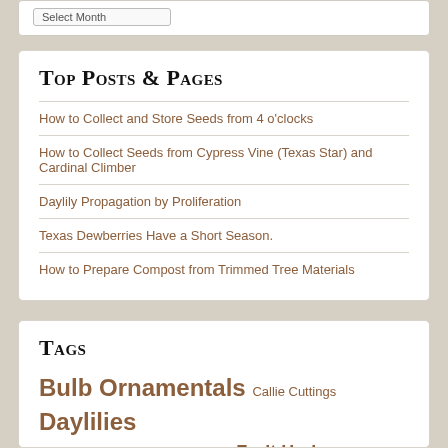Top Posts & Pages
How to Collect and Store Seeds from 4 o'clocks
How to Collect Seeds from Cypress Vine (Texas Star) and Cardinal Climber
Daylily Propagation by Proliferation
Texas Dewberries Have a Short Season.
How to Prepare Compost from Trimmed Tree Materials
Tags
Bulb Ornamentals Callie Cuttings Daylilies Disease downy mildew Fall Veggies Fruit Herbs Pests Pollination Root Veggies Roses Seed Collection Soil Spring &